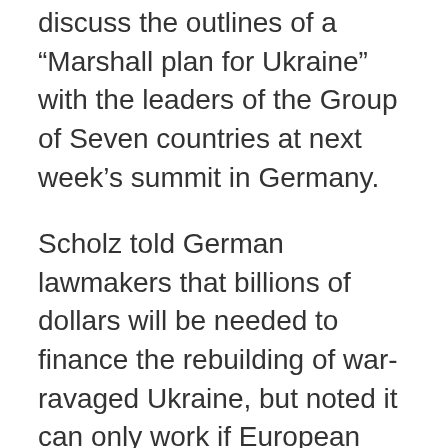discuss the outlines of a "Marshall plan for Ukraine" with the leaders of the Group of Seven countries at next week's summit in Germany.
Scholz told German lawmakers that billions of dollars will be needed to finance the rebuilding of war-ravaged Ukraine, but noted it can only work if European nations, other major donor countries and international organizations work together.
"Ukraine today needs a Marshall plan for its rebuilding," he said - referring to the US-sponsored plan that helped revive